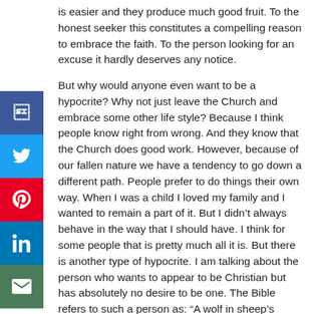is easier and they produce much good fruit. To the honest seeker this constitutes a compelling reason to embrace the faith. To the person looking for an excuse it hardly deserves any notice.

But why would anyone even want to be a hypocrite? Why not just leave the Church and embrace some other life style? Because I think people know right from wrong. And they know that the Church does good work. However, because of our fallen nature we have a tendency to go down a different path. People prefer to do things their own way. When I was a child I loved my family and I wanted to remain a part of it. But I didn't always behave in the way that I should have. I think for some people that is pretty much all it is. But there is another type of hypocrite. I am talking about the person who wants to appear to be Christian but has absolutely no desire to be one. The Bible refers to such a person as: “A wolf in sheep’s clothing” (Matthew 7:15).

In saying this I don’t mean to belittle the experience of